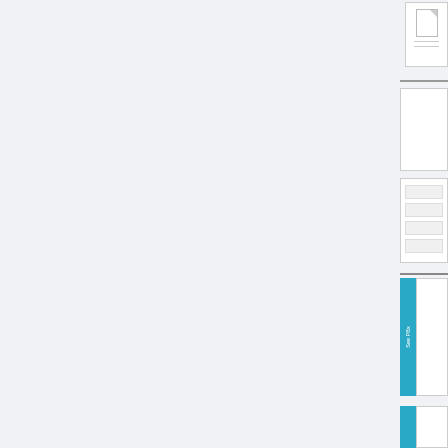[Figure (other): Partial view of document thumbnails or page navigator panel on the right side. Shows several cropped document page thumbnails with teal/blue accent bars and handwritten or printed text visible on some pages. The main area is a light gray background. Far right column shows: a small thumbnail at top with a document icon, a second thumbnail with rotated text reading 'QUEASY COME, QUEASY GO...' and 'JUST PLAIN...', a third section showing stacked page thumbnails with borders, and a fourth section showing a teal vertical bar with white text 'See PBx' and additional teal bar below.]